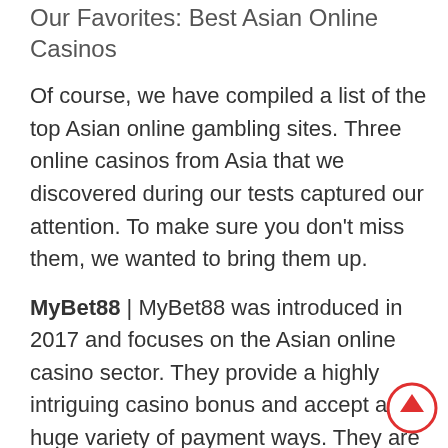Our Favorites: Best Asian Online Casinos
Of course, we have compiled a list of the top Asian online gambling sites. Three online casinos from Asia that we discovered during our tests captured our attention. To make sure you don't miss them, we wanted to bring them up.
MyBet88 | MyBet88 was introduced in 2017 and focuses on the Asian online casino sector. They provide a highly intriguing casino bonus and accept a huge variety of payment ways. They are additionally governed by the Malta Gaming Authority.
MyBetSG | MyBetSG is a must-try Asia online casino, offering a huge selection of online casino games and Asian online betting games. They provide 24/7 customer service when needed and accept a huge variety of